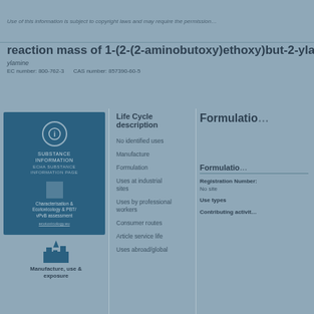Use of this information is subject to copyright laws and may require the permission…
reaction mass of 1-(2-(2-aminobutoxy)ethoxy)but-2-ylamine a…
ylamine
EC number: 800-762-3    CAS number: 857390-60-5
[Figure (infographic): Blue panel with circular icon, text about substance information, small square icon, links to characterisation & ecotoxicology & PPORD]
Manufacture, use &
exposure
Life Cycle description
No identified uses
Manufacture
Formulation
Uses at industrial sites
Uses by professional workers
Consumer routes
Article service life
Uses abroad/global
Formulation
Formulation
Registration Number:
No site
Use types
Contributing activities…